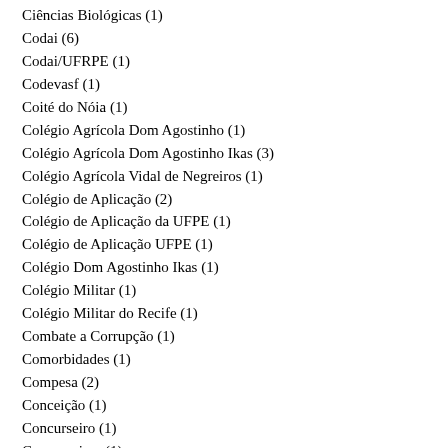Ciências Biológicas (1)
Codai (6)
Codai/UFRPE (1)
Codevasf (1)
Coité do Nóia (1)
Colégio Agrícola Dom Agostinho (1)
Colégio Agrícola Dom Agostinho Ikas (3)
Colégio Agrícola Vidal de Negreiros (1)
Colégio de Aplicação (2)
Colégio de Aplicação da UFPE (1)
Colégio de Aplicação UFPE (1)
Colégio Dom Agostinho Ikas (1)
Colégio Militar (1)
Colégio Militar do Recife (1)
Combate a Corrupção (1)
Comorbidades (1)
Compesa (2)
Conceição (1)
Concurseiro (1)
Concurseiros (1)
Concurso (66)
Concurso 2017 (32)